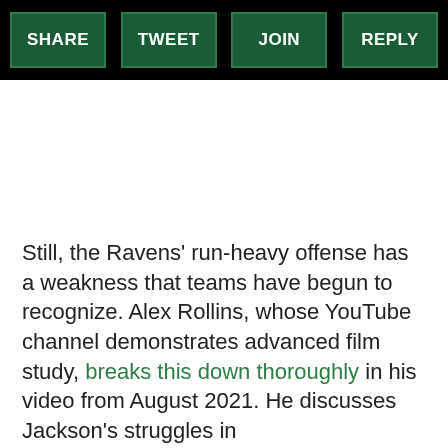SHARE | TWEET | JOIN | REPLY
Still, the Ravens' run-heavy offense has a weakness that teams have begun to recognize. Alex Rollins, whose YouTube channel demonstrates advanced film study, breaks this down thoroughly in his video from August 2021. He discusses Jackson's struggles in the playoffs during his first three seasons. In 2020, Jackson's MVP season, the Titans stifled the Ravens'